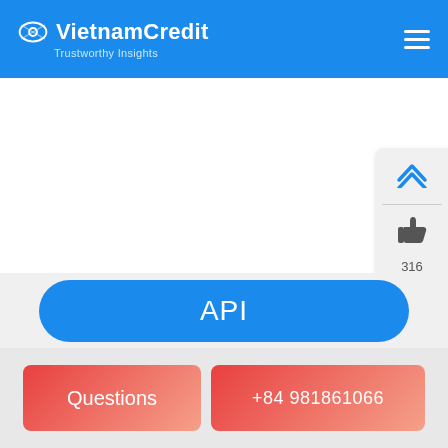VietnamCredit — Trustworthy Insights
[Figure (screenshot): White content area (blank main content region)]
[Figure (infographic): Side widget panel showing up-arrow, thumbs-up icon with count 316, separator, count 321, and thumbs-down icon]
API
Questions
+84 981861066